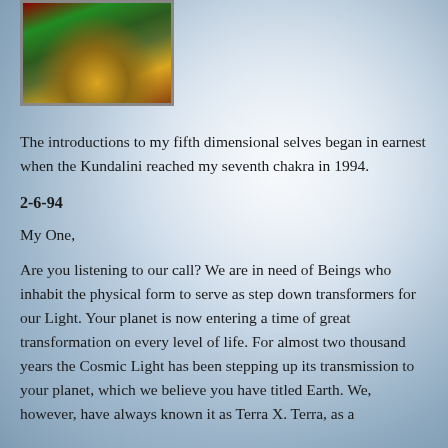[Figure (illustration): A small painting or illustration showing trees (dark green conifers) with a golden/orange background, suggesting a landscape scene.]
The introductions to my fifth dimensional selves began in earnest when the Kundalini reached my seventh chakra in 1994.
2-6-94
My One,
Are you listening to our call? We are in need of Beings who inhabit the physical form to serve as step down transformers for our Light. Your planet is now entering a time of great transformation on every level of life. For almost two thousand years the Cosmic Light has been stepping up its transmission to your planet, which we believe you have titled Earth. We, however, have always known it as Terra X. Terra, as a